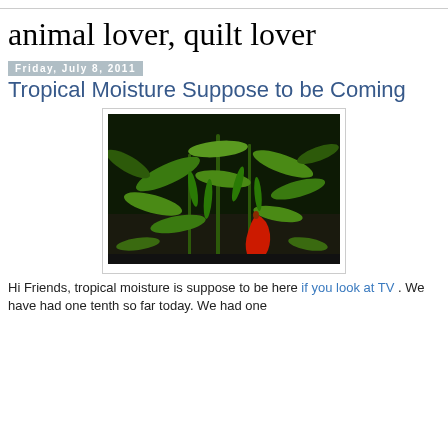animal lover, quilt lover
Friday, July 8, 2011
Tropical Moisture Suppose to be Coming
[Figure (photo): Photograph of a chili pepper plant with green and one red pepper growing in a garden setting with dark background.]
Hi Friends, tropical moisture is suppose to be here if you look at TV . We have had one tenth so far today. We had one